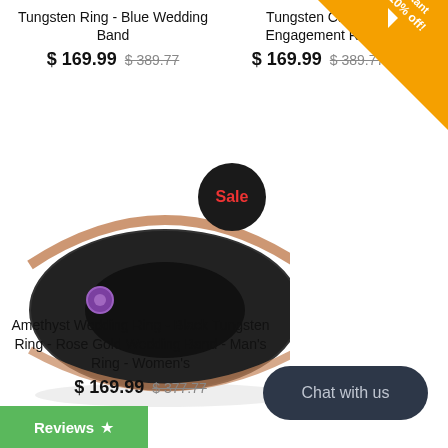Tungsten Ring - Blue Wedding Band
$ 169.99  $ 389.77
Tungsten Carb... Engagement R...
$ 169.99  $ 389.77
[Figure (photo): Black tungsten ring with rose gold edges and amethyst stone, with a red Sale badge overlay]
Amethyst Wedding Ring - Black Tungsten Ring - Rose Gold Wedding Band - Man's Ring - Women's
$ 169.99  $ 377.77
Chat with us
Reviews ★